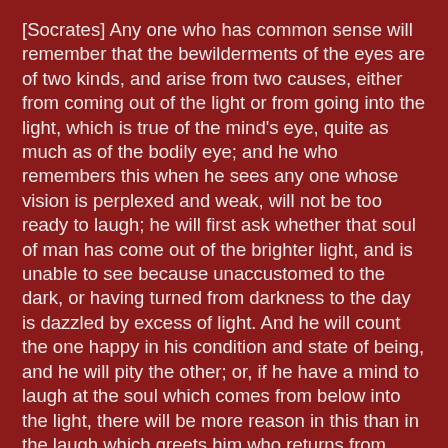[Socrates] Any one who has common sense will remember that the bewilderments of the eyes are of two kinds, and arise from two causes, either from coming out of the light or from going into the light, which is true of the mind's eye, quite as much as of the bodily eye; and he who remembers this when he sees any one whose vision is perplexed and weak, will not be too ready to laugh; he will first ask whether that soul of man has come out of the brighter light, and is unable to see because unaccustomed to the dark, or having turned from darkness to the day is dazzled by excess of light. And he will count the one happy in his condition and state of being, and he will pity the other; or, if he have a mind to laugh at the soul which comes from below into the light, there will be more reason in this than in the laugh which greets him who returns from above out of the light into the cave.
[Glaucon] That, he said, is a very just distinction.
[Socrates] But then, if I am right, certain professors of education must be wrong when they say that they can put a knowledge into the soul which was not there before, like